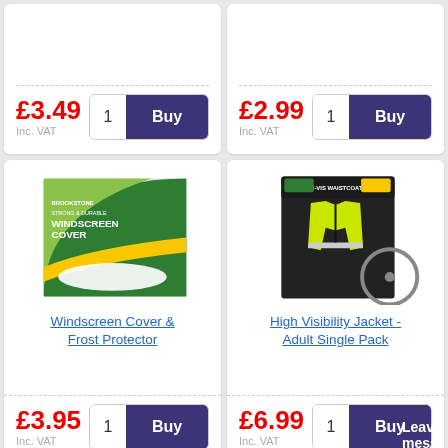£3.49 Inc. VAT
£2.99 Inc. VAT
[Figure (photo): Windscreen Cover product packaging - shows a Brookstone Windscreen Cover & Frost Protector box with green and yellow design]
Windscreen Cover & Frost Protector
£3.95 Inc. VAT
[Figure (photo): High Visibility Jacket product packaging - bright yellow/green hi-vis vest in black packaging]
High Visibility Jacket - Adult Single Pack
£6.99 Inc. VAT
Leave a message